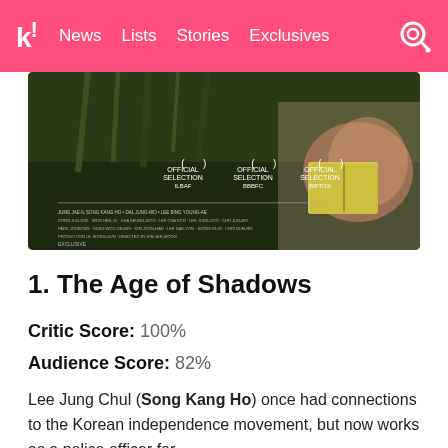k! News  Lists  Stories  Exclusives
[Figure (photo): Movie poster for 'The Age of Shadows' showing a person reading a book outdoors with greenery in background, and three 'Official Selection' laurel badges visible]
1. The Age of Shadows
Critic Score: 100%
Audience Score: 82%
Lee Jung Chul (Song Kang Ho) once had connections to the Korean independence movement, but now works as a police officer for